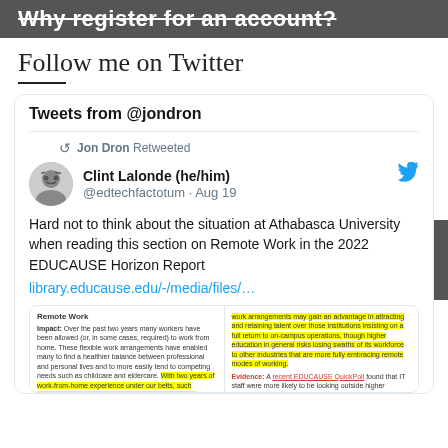Why register for an account?
Follow me on Twitter
[Figure (screenshot): Embedded Twitter widget showing tweets from @jondron, with a retweet by Jon Dron of Clint Lalonde (@edtechfactotum) dated Aug 19, about Athabasca University and remote work in the 2022 EDUCAUSE Horizon Report, with an embedded document preview showing the 'Remote Work' section with yellow highlighted text.]